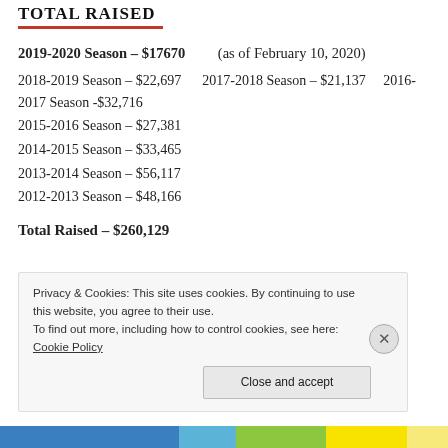TOTAL RAISED
2019-2020 Season – $17670   (as of February 10, 2020)
2018-2019 Season – $22,697   2017-2018 Season – $21,137   2016-2017 Season -$32,716
2015-2016 Season – $27,381
2014-2015 Season – $33,465
2013-2014 Season – $56,117
2012-2013 Season – $48,166
Total Raised – $260,129
Privacy & Cookies: This site uses cookies. By continuing to use this website, you agree to their use.
To find out more, including how to control cookies, see here: Cookie Policy
Close and accept